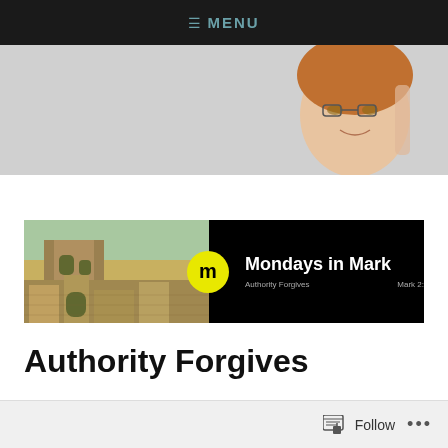≡ MENU
[Figure (photo): Header banner showing a smiling woman with glasses and red hair on a light grey background]
[Figure (illustration): Mondays in Mark blog post banner: left half shows ancient stone ruins, right half is black with a yellow circle containing letter 'm', text 'Mondays in Mark', subtitle 'Authority Forgives' and 'Mark 2:1-12']
Authority Forgives
Follow  ...